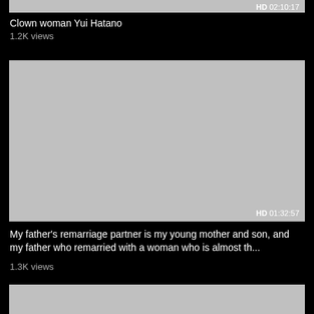[Figure (screenshot): Video thumbnail placeholder (grey) with HD badge and timestamp 02:10:17 in bottom right]
Clown woman Yui Hatano
1.2K views
[Figure (screenshot): Video thumbnail placeholder (grey) with HD badge and timestamp 01:32:57 in bottom right]
My father's remarriage partner is my young mother and son, and my father who remarried with a woman who is almost th...
1.3K views
[Figure (screenshot): Video thumbnail placeholder (grey), partially visible at bottom of page]